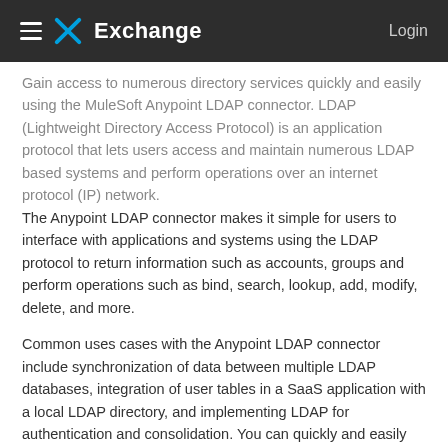Exchange  Login
Gain access to numerous directory services quickly and easily using the MuleSoft Anypoint LDAP connector. LDAP (Lightweight Directory Access Protocol) is an application protocol that lets users access and maintain numerous LDAP based systems and perform operations over an internet protocol (IP) network.
The Anypoint LDAP connector makes it simple for users to interface with applications and systems using the LDAP protocol to return information such as accounts, groups and perform operations such as bind, search, lookup, add, modify, delete, and more.
Common uses cases with the Anypoint LDAP connector include synchronization of data between multiple LDAP databases, integration of user tables in a SaaS application with a local LDAP directory, and implementing LDAP for authentication and consolidation. You can quickly and easily leverage an LDAP server from within Anypoint™ Platform.